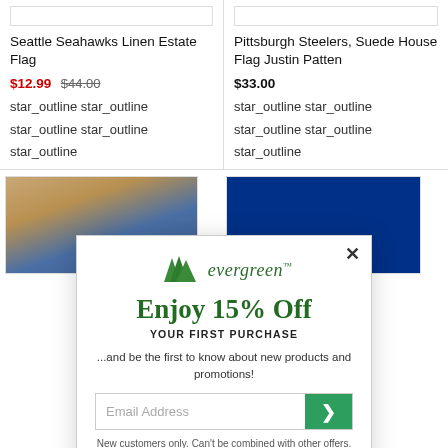Seattle Seahawks Linen Estate Flag
$12.99 $44.00
star_outline star_outline star_outline star_outline star_outline
Pittsburgh Steelers, Suede House Flag Justin Patten
$33.00
star_outline star_outline star_outline star_outline star_outline
[Figure (screenshot): Partial product images in the bottom row of a product grid - left shows a flag product, right shows a blue sports flag]
[Figure (infographic): Evergreen promotional modal popup offering 15% Off Your First Purchase with email signup field and close button]
New customers only. Can't be combined with other offers.